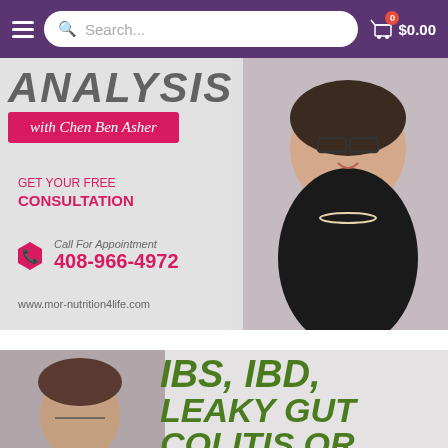Search... $0.00
[Figure (photo): Promotional banner for nutrition analysis with Chen Ben Asher. Shows a smiling woman with glasses, pearl necklace, and black outfit. Text includes 'with Chen Ben Asher', 'GET YOUR FREE CONSULTATION', 'Call For Appointment 408-966-4972', 'www.mor-nutrition4life.com']
[Figure (photo): Promotional banner about gut health topics: IBS, IBD, LEAKY GUT COLITIS OR... Shows a person with short dark hair and glasses on the left side.]